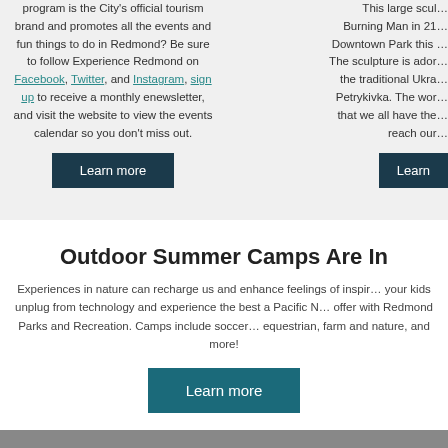program is the City's official tourism brand and promotes all the events and fun things to do in Redmond? Be sure to follow Experience Redmond on Facebook, Twitter, and Instagram, sign up to receive a monthly enewsletter, and visit the website to view the events calendar so you don't miss out.
This large scul... Burning Man in 21... Downtown Park this... The sculpture is ador... the traditional Ukra... Petrykivka. The wor... that we all have the... reach our...
Learn more
Learn
Outdoor Summer Camps Are In
Experiences in nature can recharge us and enhance feelings of inspir... your kids unplug from technology and experience the best a Pacific N... offer with Redmond Parks and Recreation. Camps include soccer... equestrian, farm and nature, and more!
Learn more